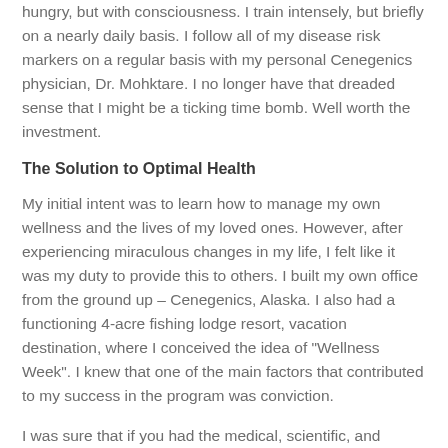hungry, but with consciousness. I train intensely, but briefly on a nearly daily basis. I follow all of my disease risk markers on a regular basis with my personal Cenegenics physician, Dr. Mohktare. I no longer have that dreaded sense that I might be a ticking time bomb. Well worth the investment.
The Solution to Optimal Health
My initial intent was to learn how to manage my own wellness and the lives of my loved ones. However, after experiencing miraculous changes in my life, I felt like it was my duty to provide this to others. I built my own office from the ground up – Cenegenics, Alaska. I also had a functioning 4-acre fishing lodge resort, vacation destination, where I conceived the idea of "Wellness Week". I knew that one of the main factors that contributed to my success in the program was conviction.
I was sure that if you had the medical, scientific, and training background that I had, you would have the same conclusion. So, how do I convey this information to my patients and create the same level of conviction and motivation to succeed? I spent the last couple of years creating lectures that serve to present the important science I now know, in a format that the average